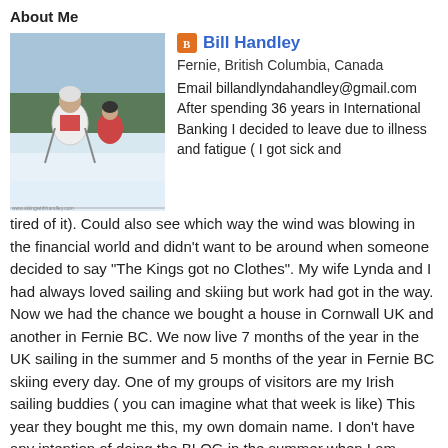About Me
[Figure (photo): Photo of Bill Handley skiing, wearing white jacket and red vest]
Bill Handley
Fernie, British Columbia, Canada
Email billandlyndahandley@gmail.com After spending 36 years in International Banking I decided to leave due to illness and fatigue ( I got sick and tired of it). Could also see which way the wind was blowing in the financial world and didn't want to be around when someone decided to say "The Kings got no Clothes". My wife Lynda and I had always loved sailing and skiing but work had got in the way. Now we had the chance we bought a house in Cornwall UK and another in Fernie BC. We now live 7 months of the year in the UK sailing in the summer and 5 months of the year in Fernie BC skiing every day. One of my groups of visitors are my Irish sailing buddies ( you can imagine what that week is like) This year they bought me this, my own domain name. I don't have any intention of doing the BLOG in the summer when I am sailing as no one will be interested in that. I do intend to keep a daily BLOG of skiing in Fernie so that my friends can keep up with what is going on particularly those who are about to visit and want to check on conditions. This BLOG will be my personal take on what I have skied and seen on the hill and in the bar afterwards.